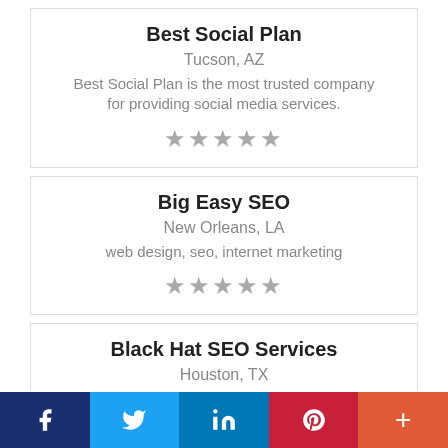Best Social Plan
Tucson, AZ
Best Social Plan is the most trusted company for providing social media services.
[Figure (other): 5 gray stars rating]
Big Easy SEO
New Orleans, LA
web design, seo, internet marketing
[Figure (other): 5 gray stars rating]
Black Hat SEO Services
Houston, TX
We've taken the mystery out of SEO strategy with proven methods.
[Figure (other): 5 gray stars rating (partially visible)]
[Figure (infographic): Social media sharing bar with Facebook, Twitter, LinkedIn, Pinterest, and More buttons]